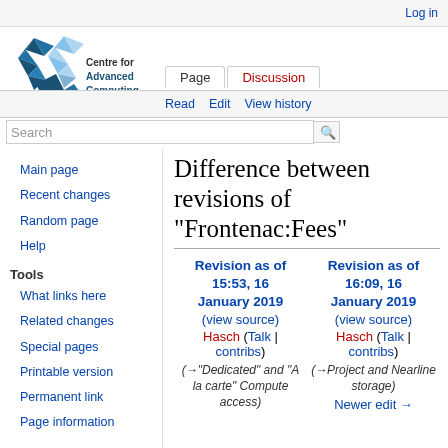Log in
[Figure (logo): Centre for Advanced Computing logo — blue/teal starburst with arrows]
Page | Discussion | Read | Edit | View history
Difference between revisions of "Frontenac:Fees"
Main page
Recent changes
Random page
Help
Tools
What links here
Related changes
Special pages
Printable version
Permanent link
Page information
| Revision as of 15:53, 16 January 2019 | Revision as of 16:09, 16 January 2019 |
| --- | --- |
| (view source) | (view source) |
| Hasch (Talk | contribs) | Hasch (Talk | contribs) |
| (→"Dedicated" and "A la carte" Compute access) | (→Project and Nearline storage) |
|  | Newer edit → |